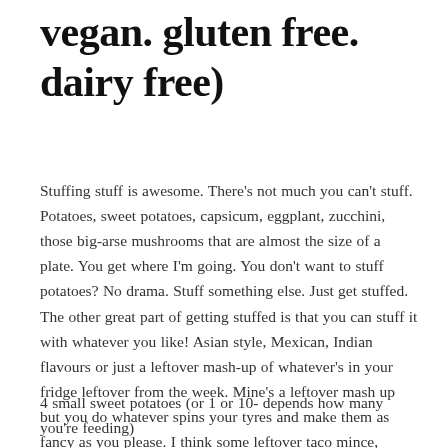vegan. gluten free. dairy free)
Stuffing stuff is awesome. There's not much you can't stuff. Potatoes, sweet potatoes, capsicum, eggplant, zucchini, those big-arse mushrooms that are almost the size of a plate. You get where I'm going. You don't want to stuff potatoes? No drama. Stuff something else. Just get stuffed. The other great part of getting stuffed is that you can stuff it with whatever you like! Asian style, Mexican, Indian flavours or just a leftover mash-up of whatever's in your fridge leftover from the week. Mine's a leftover mash up but you do whatever spins your tyres and make them as fancy as you please. I think some leftover taco mince, homemade guacamole etc would be epic.
4 small sweet potatoes (or 1 or 10- depends how many you're feeding)